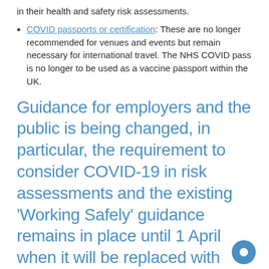in their health and safety risk assessments.
COVID passports or certification: These are no longer recommended for venues and events but remain necessary for international travel. The NHS COVID pass is no longer to be used as a vaccine passport within the UK.
Guidance for employers and the public is being changed, in particular, the requirement to consider COVID-19 in risk assessments and the existing 'Working Safely' guidance remains in place until 1 April when it will be replaced with new guidance.
The CIPD recommends considering three questions to help guide...